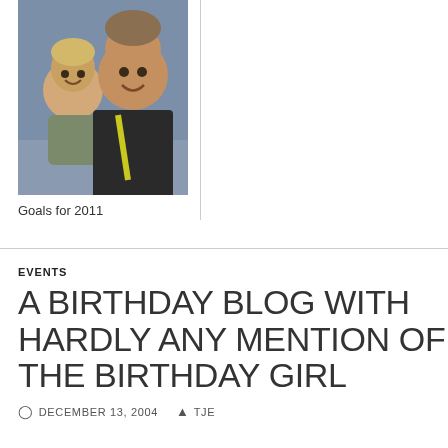[Figure (photo): Two males — a young boy and a teenage/young adult male — posing together and smiling. Photo appears to be from a casual indoor setting.]
Goals for 2011
EVENTS
A BIRTHDAY BLOG WITH HARDLY ANY MENTION OF THE BIRTHDAY GIRL
DECEMBER 13, 2004  TJE